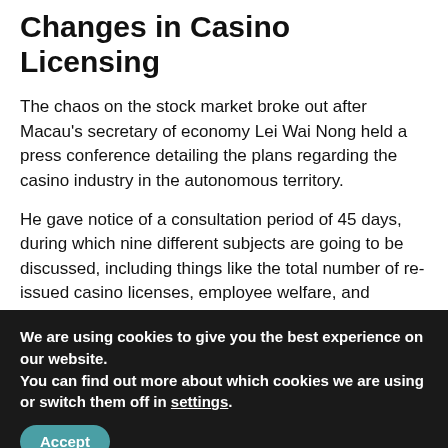Changes in Casino Licensing
The chaos on the stock market broke out after Macau's secretary of economy Lei Wai Nong held a press conference detailing the plans regarding the casino industry in the autonomous territory.
He gave notice of a consultation period of 45 days, during which nine different subjects are going to be discussed, including things like the total number of re-issued casino licenses, employee welfare, and supervision of casino operations.
This isn't going to be the first time the Macau authorities have increased their pressure on the gaming industry. In the past, we saw them dealing with the problem of illegal lending and
We are using cookies to give you the best experience on our website.
You can find out more about which cookies we are using or switch them off in settings.
Accept